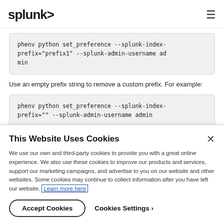splunk> [hamburger menu]
phenv python set_preference --splunk-index-prefix="prefix1" --splunk-admin-username admin
Use an empty prefix string to remove a custom prefix. For example:
phenv python set_preference --splunk-index-prefix="" --splunk-admin-username admin
This Website Uses Cookies
We use our own and third-party cookies to provide you with a great online experience. We also use these cookies to improve our products and services, support our marketing campaigns, and advertise to you on our website and other websites. Some cookies may continue to collect information after you have left our website. Learn more here
Accept Cookies   Cookies Settings ›